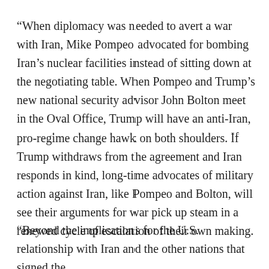“When diplomacy was needed to avert a war with Iran, Mike Pompeo advocated for bombing Iran’s nuclear facilities instead of sitting down at the negotiating table. When Pompeo and Trump’s new national security advisor John Bolton meet in the Oval Office, Trump will have an anti-Iran, pro-regime change hawk on both shoulders. If Trump withdraws from the agreement and Iran responds in kind, long-time advocates of military action against Iran, like Pompeo and Bolton, will see their arguments for war pick up steam in a renewed cycle of escalation of their own making.
“Beyond the implications for the U.S. relationship with Iran and the other nations that signed the [agreement], there is a more fundamental concern.